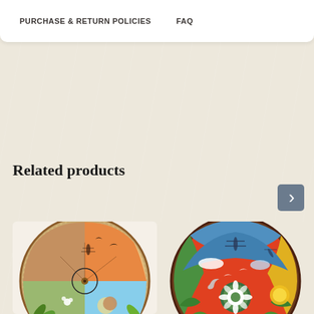PURCHASE & RETURN POLICIES    FAQ
Related products
[Figure (photo): Decorative hand-painted wooden bowl viewed from above, featuring nature motifs including leaves, plants, insects, and a circle design on a warm earthy background with colorful accents]
[Figure (photo): Decorative hand-painted wooden bowl viewed from above, featuring bold red center with nature motifs including dragonflies, leaves, clouds, moon, and a flower mandala at center, with colorful blue, yellow and green accents]